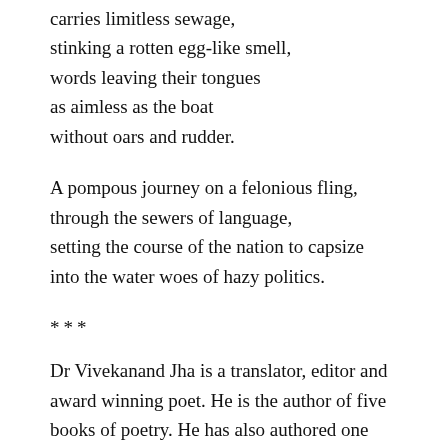carries limitless sewage,
stinking a rotten egg-like smell,
words leaving their tongues
as aimless as the boat
without oars and rudder.
A pompous journey on a felonious fling,
through the sewers of language,
setting the course of the nation to capsize
into the water woes of hazy politics.
***
Dr Vivekanand Jha is a translator, editor and award winning poet. He is the author of five books of poetry. He has also authored one critical book on the poetry